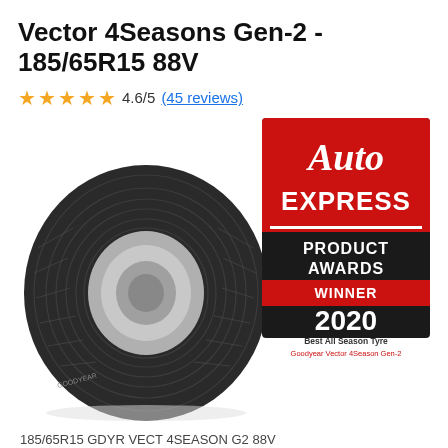Vector 4Seasons Gen-2 - 185/65R15 88V
4.6/5 (45 reviews)
[Figure (photo): Goodyear Vector 4Seasons Gen-2 tyre (185/65R15 88V) with Auto Express Product Awards Winner 2020 badge. Text reads Best All Season Tyre, Goodyear Vector 4Season Gen-2.]
185/65R15 GDYR VECT 4SEASON G2 88V